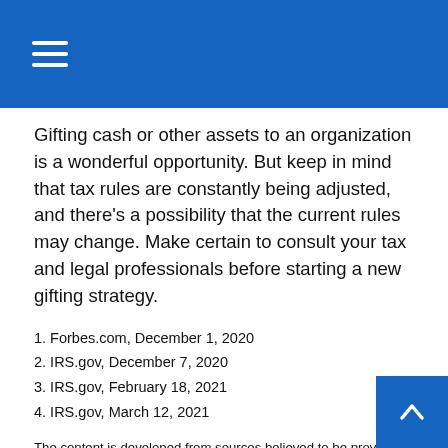Gifting cash or other assets to an organization is a wonderful opportunity. But keep in mind that tax rules are constantly being adjusted, and there's a possibility that the current rules may change. Make certain to consult your tax and legal professionals before starting a new gifting strategy.
1. Forbes.com, December 1, 2020
2. IRS.gov, December 7, 2020
3. IRS.gov, February 18, 2021
4. IRS.gov, March 12, 2021
The content is developed from sources believed to be providing accurate information. The information in this material is not intended as tax or legal advice. It may not be used for the purpose of avoiding any federal tax penalties. Please consult legal or tax professionals for specific information regarding your individual situation. This material was developed and produced by FMG Suite to provide information on a topic that may be of interest. FMG, LLC, is not affiliated with the named broker-dealer, SEC-registered investment advisory firm. The opinions expressed and materials provided are for general information, and should not be considered a solicitation for the purchase or sale of any security. Copyright 2022 FMG Suite.